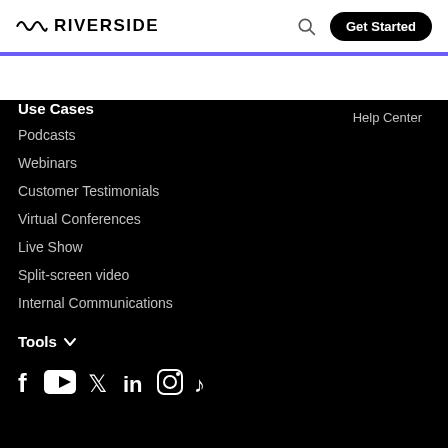RIVERSIDE — Get Started
Help Center
Use Cases
Podcasts
Webinars
Customer Testimonials
Virtual Conferences
Live Show
Split-screen video
Internal Communications
Tools
[Figure (other): Social media icons: Facebook, YouTube, Twitter, LinkedIn, Instagram, TikTok]